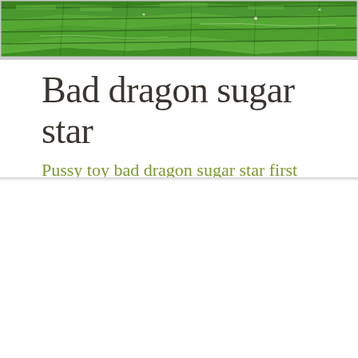[Figure (photo): Aerial view of green terraced rice fields or farmland landscape, lush green with geometric field patterns]
Bad dragon sugar star
Pussy toy bad dragon sugar star first